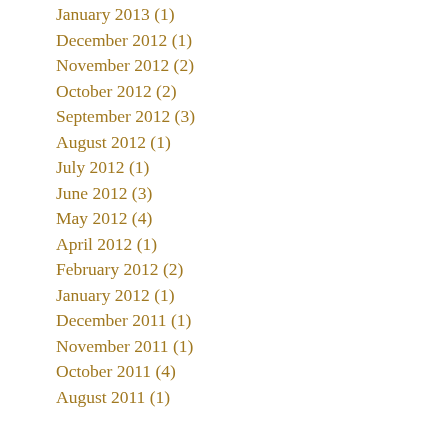January 2013 (1)
December 2012 (1)
November 2012 (2)
October 2012 (2)
September 2012 (3)
August 2012 (1)
July 2012 (1)
June 2012 (3)
May 2012 (4)
April 2012 (1)
February 2012 (2)
January 2012 (1)
December 2011 (1)
November 2011 (1)
October 2011 (4)
August 2011 (1)